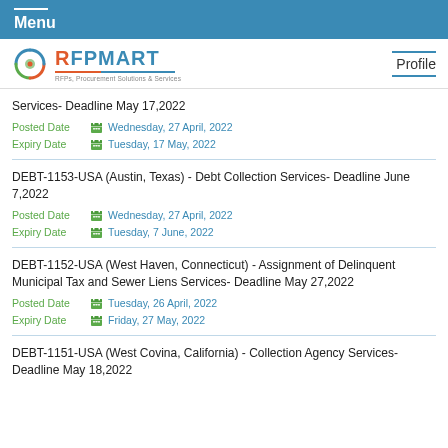Menu
[Figure (logo): RFPMART logo with tagline RFPs, Procurement Solutions & Services]
Services- Deadline May 17,2022
Posted Date  Wednesday, 27 April, 2022
Expiry Date  Tuesday, 17 May, 2022
DEBT-1153-USA (Austin, Texas) - Debt Collection Services- Deadline June 7,2022
Posted Date  Wednesday, 27 April, 2022
Expiry Date  Tuesday, 7 June, 2022
DEBT-1152-USA (West Haven, Connecticut) - Assignment of Delinquent Municipal Tax and Sewer Liens Services- Deadline May 27,2022
Posted Date  Tuesday, 26 April, 2022
Expiry Date  Friday, 27 May, 2022
DEBT-1151-USA (West Covina, California) - Collection Agency Services- Deadline May 18,2022